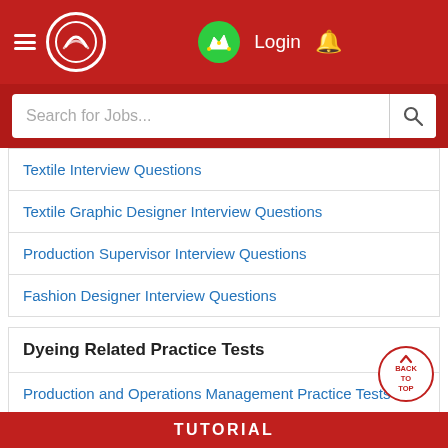Header with logo, Login, and bell icon
Search for Jobs...
Textile Interview Questions
Textile Graphic Designer Interview Questions
Production Supervisor Interview Questions
Fashion Designer Interview Questions
Dyeing Related Practice Tests
Production and Operations Management Practice Tests
Production Practice Tests
Printing Technology Practice Tests
TUTORIAL